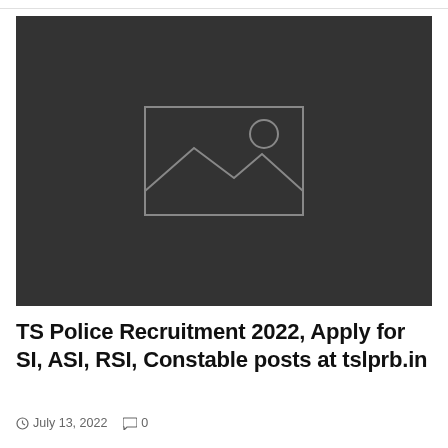[Figure (other): Dark grey placeholder image with a mountain/landscape image icon outline in the center]
TS Police Recruitment 2022, Apply for SI, ASI, RSI, Constable posts at tslprb.in
July 13, 2022   0